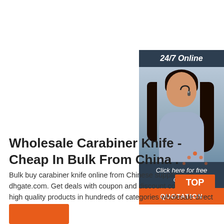[Figure (illustration): Customer service representative with headset, 24/7 Online chat widget with dark header, photo of woman, 'Click here for free chat!' text, and orange QUOTATION button]
Wholesale Carabiner Knife - Cheap In Bulk From China .
Bulk buy carabiner knife online from Chinese suppliers on dhgate.com. Get deals with coupon and discount code! Source high quality products in hundreds of categories wholesale direct from China.
[Figure (logo): TOP badge with orange dots and orange TOP text]
[Figure (other): Orange button at bottom left]